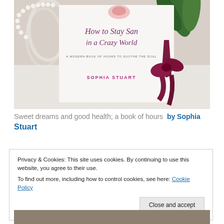[Figure (photo): A photograph of the book 'How to Stay Sane in a Crazy World — A Modern Book of Hours to Soothe the Soul' by Sophia Stuart, displayed with pearl necklace, green leaves, and a dark red ribbon bow.]
Sweet dreams and good health; a book of hours  by Sophia Stuart
Privacy & Cookies: This site uses cookies. By continuing to use this website, you agree to their use.
To find out more, including how to control cookies, see here: Cookie Policy
Close and accept
[Figure (photo): Partial bottom photograph, showing a warm-toned scene.]